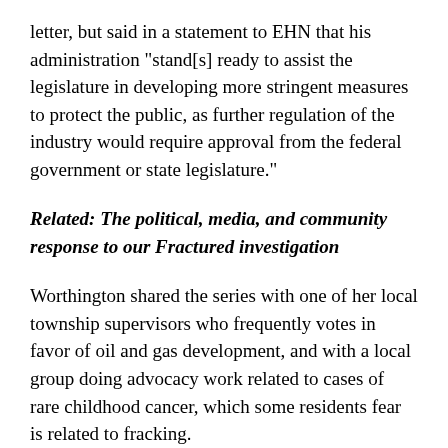letter, but said in a statement to EHN that his administration "stand[s] ready to assist the legislature in developing more stringent measures to protect the public, as further regulation of the industry would require approval from the federal government or state legislature."
Related: The political, media, and community response to our Fractured investigation
Worthington shared the series with one of her local township supervisors who frequently votes in favor of oil and gas development, and with a local group doing advocacy work related to cases of rare childhood cancer, which some residents fear is related to fracking.
After she learned about her family's exposures and discovered that her home was surrounded by dozens of